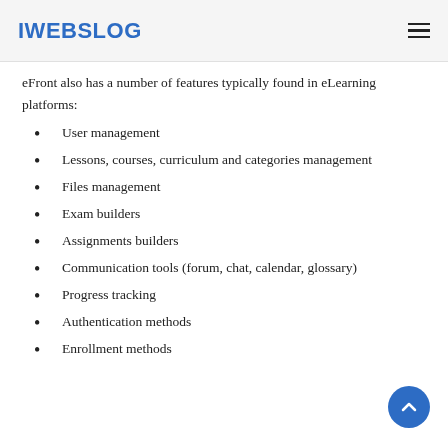IWEBSLOG
eFront also has a number of features typically found in eLearning platforms:
User management
Lessons, courses, curriculum and categories management
Files management
Exam builders
Assignments builders
Communication tools (forum, chat, calendar, glossary)
Progress tracking
Authentication methods
Enrollment methods